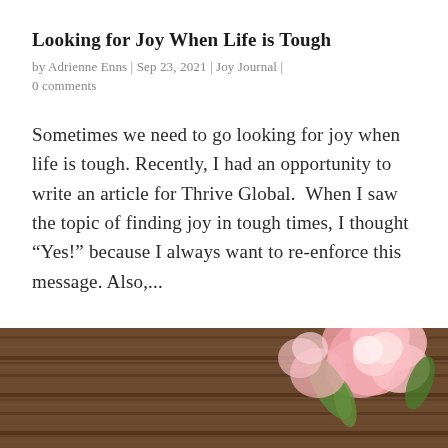Looking for Joy When Life is Tough
by Adrienne Enns | Sep 23, 2021 | Joy Journal | 0 comments
Sometimes we need to go looking for joy when life is tough. Recently, I had an opportunity to write an article for Thrive Global.  When I saw the topic of finding joy in tough times, I thought “Yes!” because I always want to re-enforce this message. Also,...
[Figure (photo): Photo of wooden planks background with pink flowers (roses/peonies) in the upper right corner]